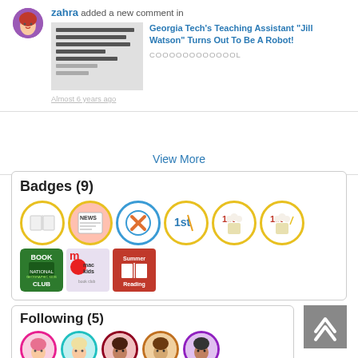zahra added a new comment in Georgia Tech's Teaching Assistant "Jill Watson" Turns Out To Be A Robot! COOOOOOOOOOOOL
Almost 6 years ago
View More
Badges (9)
[Figure (illustration): 9 badges displayed: book badge, news badge, cancel badge, 1st place badge, popcorn badges (x2), National Geographic Kids Book Club badge, mac kids book club badge, Summer Reading badge]
Following (5)
[Figure (illustration): 5 follower avatar circles in pink, teal, dark red, brown, and purple border colors]